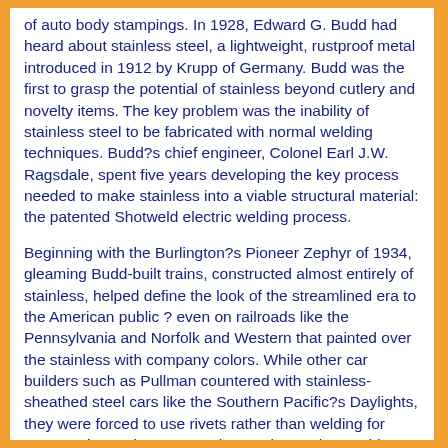of auto body stampings. In 1928, Edward G. Budd had heard about stainless steel, a lightweight, rustproof metal introduced in 1912 by Krupp of Germany. Budd was the first to grasp the potential of stainless beyond cutlery and novelty items. The key problem was the inability of stainless steel to be fabricated with normal welding techniques. Budd?s chief engineer, Colonel Earl J.W. Ragsdale, spent five years developing the key process needed to make stainless into a viable structural material: the patented Shotweld electric welding process.
Beginning with the Burlington?s Pioneer Zephyr of 1934, gleaming Budd-built trains, constructed almost entirely of stainless, helped define the look of the streamlined era to the American public ? even on railroads like the Pennsylvania and Norfolk and Western that painted over the stainless with company colors. While other car builders such as Pullman countered with stainless-sheathed steel cars like the Southern Pacific?s Daylights, they were forced to use rivets rather than welding for construction. In later years, the result was that Budd cars lasted almost indefinitely, while the stainless-sheathed imitators were plagued with out-of-sight rusting under the sheathing.
The majority of lightweights were 80??85? long, which scales out to